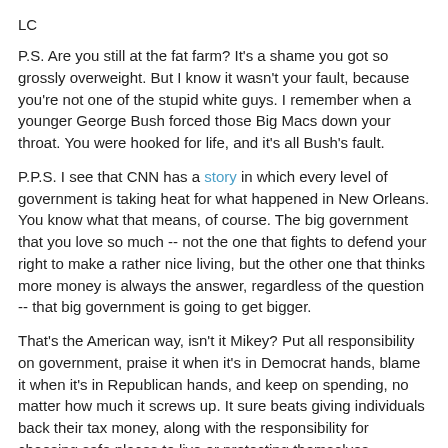LC
P.S. Are you still at the fat farm? It's a shame you got so grossly overweight. But I know it wasn't your fault, because you're not one of the stupid white guys. I remember when a younger George Bush forced those Big Macs down your throat. You were hooked for life, and it's all Bush's fault.
P.P.S. I see that CNN has a story in which every level of government is taking heat for what happened in New Orleans. You know what that means, of course. The big government that you love so much -- not the one that fights to defend your right to make a rather nice living, but the other one that thinks more money is always the answer, regardless of the question -- that big government is going to get bigger.
That's the American way, isn't it Mikey? Put all responsibility on government, praise it when it's in Democrat hands, blame it when it's in Republican hands, and keep on spending, no matter how much it screws up. It sure beats giving individuals back their tax money, along with the responsibility for choosing safe places to live or protecting themselves